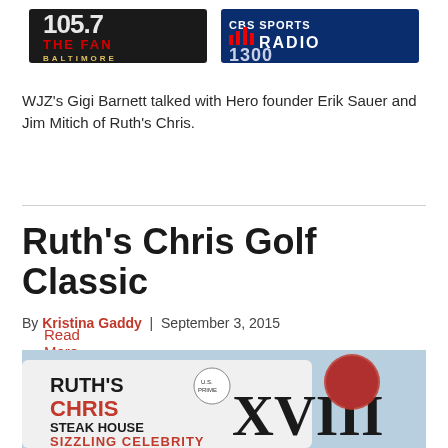[Figure (logo): Radio station logos: 105.7 The Fan Baltimore and CBS Sports Radio 1300]
WJZ's Gigi Barnett talked with Hero founder Erik Sauer and Jim Mitich of Ruth's Chris.
Read More
Ruth's Chris Golf Classic
By Kristina Gaddy | September 3, 2015
[Figure (photo): Ruth's Chris Steak House XVIII Sizzling Celebrity golf tournament logo on a golf ball background]